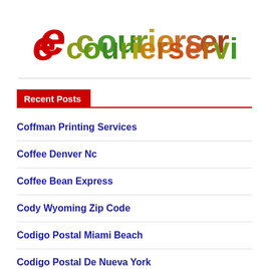[Figure (logo): ecourierservicebd logo with red stylized 'e' icon and multicolor gradient text]
Recent Posts
Coffman Printing Services
Coffee Denver Nc
Coffee Bean Express
Cody Wyoming Zip Code
Codigo Postal Miami Beach
Codigo Postal De Nueva York